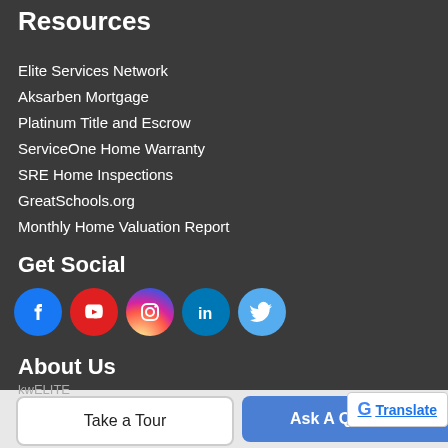Resources
Elite Services Network
Aksarben Mortgage
Platinum Title and Escrow
ServiceOne Home Warranty
SRE Home Inspections
GreatSchools.org
Monthly Home Valuation Report
Get Social
[Figure (other): Social media icon buttons: Facebook (blue), YouTube (red), Instagram (pink/magenta gradient), LinkedIn (blue), Twitter (light blue)]
About Us
kwELITE
17838 Burke St, #102
Take a Tour
Ask A Question
G Translate